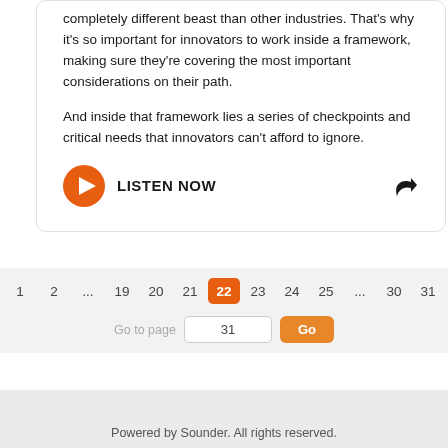completely different beast than other industries. That's why it's so important for innovators to work inside a framework, making sure they're covering the most important considerations on their path.
And inside that framework lies a series of checkpoints and critical needs that innovators can't afford to ignore.
[Figure (other): Orange play button circle icon with LISTEN NOW label and share arrow icon]
< 1 2 ... 19 20 21 22 23 24 25 ... 30 31 >
Go to page  31  Go
Powered by Sounder. All rights reserved.